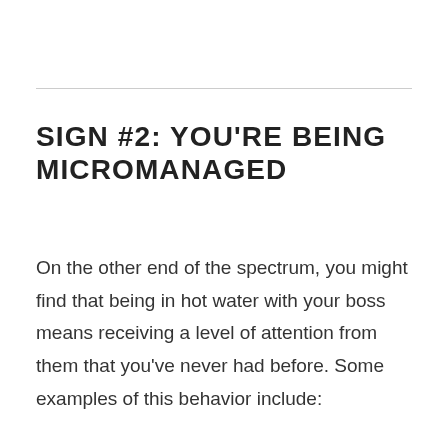SIGN #2: YOU'RE BEING MICROMANAGED
On the other end of the spectrum, you might find that being in hot water with your boss means receiving a level of attention from them that you've never had before. Some examples of this behavior include: